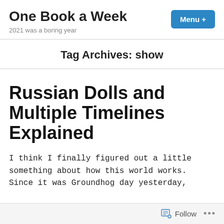One Book a Week
2021 was a boring year
Tag Archives: show
Russian Dolls and Multiple Timelines Explained
I think I finally figured out a little something about how this world works. Since it was Groundhog day yesterday,